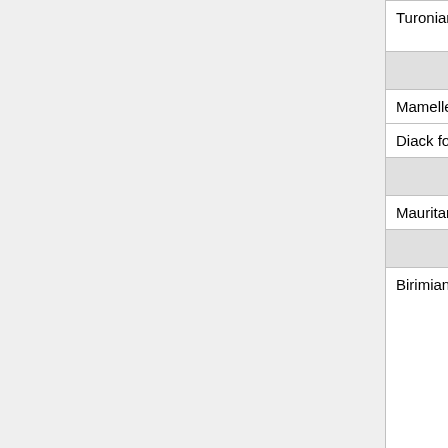| Formation | Age | Lithology |
| --- | --- | --- |
| Turonian | Mesozoic | stratigraph marker be... |
| Tertiary-Quaternary volcanic ro... |
| Mamelles volcanics | Tertiary-Quaternary | Basalt, basanite, t... |
| Diack formations | Tertiary | Gabbro an... basalt |
| Hercynian-Panafrican Mobile/Oroge... |
| Mauritanides formations | Hercynian-Panafrican | Schists an... quartzites |
| Precambrian: Birimian |
| Birimian formations | Mesoproterozoic | Saraya Granite, complex granodiorit... granite of Sandikoun... Soukouta,... |